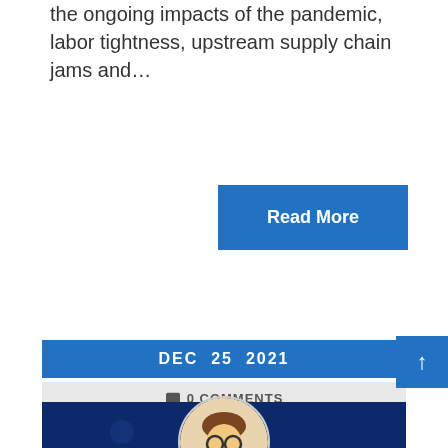the ongoing impacts of the pandemic, labor tightness, upstream supply chain jams and…
Read More
DEC 25 2021
0 COMMENTS
[Figure (illustration): Caricature avatar of Troy Warren, a man in suit with microphone]
By Troy Warren
[Figure (photo): Dark blue photo strip at bottom of page]